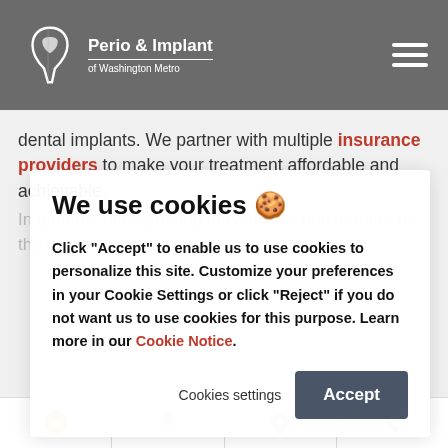Perio & Implant of Washington Metro
dental implants. We partner with multiple insurance providers to make your treatment affordable and achievable. In general, bone grafting may involve one or more of the following procedures
We use cookies 🍪
Click “Accept” to enable us to use cookies to personalize this site. Customize your preferences in your Cookie Settings or click “Reject” if you do not want us to use cookies for this purpose. Learn more in our Cookie Notice.
Cookies settings
Accept